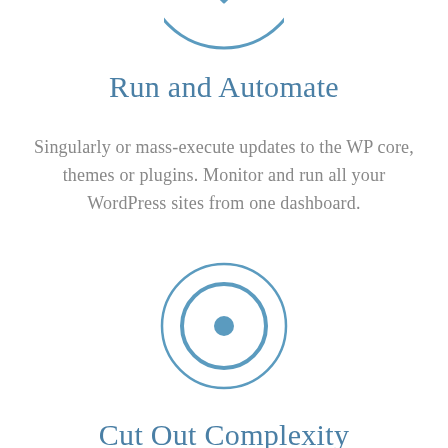[Figure (illustration): Partial circular icon at top, blue outline circle with down arrow, cropped at top]
Run and Automate
Singularly or mass-execute updates to the WP core, themes or plugins. Monitor and run all your WordPress sites from one dashboard.
[Figure (illustration): Concentric circles icon in blue, like a target or radio button symbol]
Cut Out Complexity